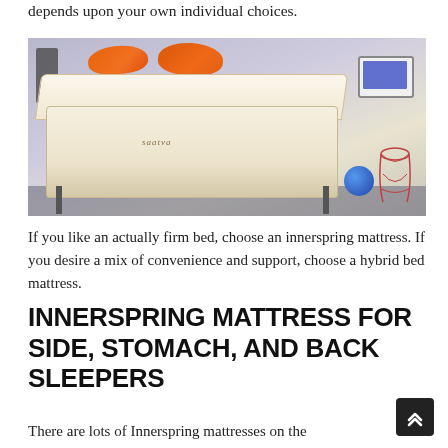depends upon your own individual choices.
[Figure (photo): A Saatva brand mattress displayed on a metal bed frame in a showroom setting, with orange pillows, a blue ball, a tablet on a side table, and a wire accent table.]
If you like an actually firm bed, choose an innerspring mattress. If you desire a mix of convenience and support, choose a hybrid bed mattress.
INNERSPRING MATTRESS FOR SIDE, STOMACH, AND BACK SLEEPERS
There are lots of Innerspring mattresses on the